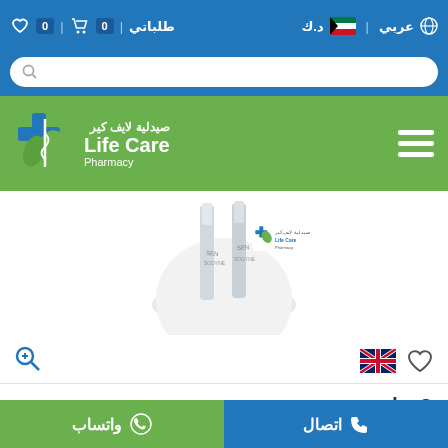عربي | د.ك | طلباتي | 0 (cart) | 0 (wishlist)
[Figure (screenshot): Search bar with magnifying glass icon on blue background]
[Figure (logo): Life Care Pharmacy logo - green bar with hamburger menu on left, Life Care Pharmacy logo with Arabic text on right]
[Figure (photo): Sensodyne toothbrush product image with Life Care Pharmacy watermark]
2 د.ك.
طلب | 1 | + | −
اتصال | واتساب